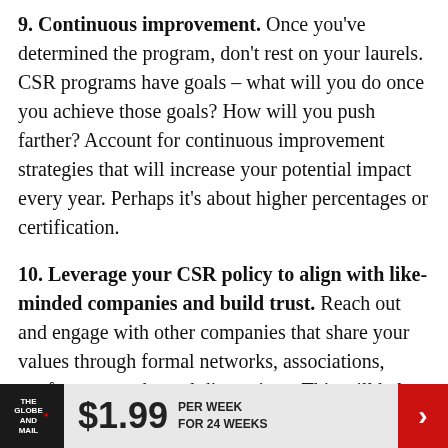9. Continuous improvement. Once you've determined the program, don't rest on your laurels. CSR programs have goals – what will you do once you achieve those goals? How will you push farther? Account for continuous improvement strategies that will increase your potential impact every year. Perhaps it's about higher percentages or certification.
10. Leverage your CSR policy to align with like-minded companies and build trust. Reach out and engage with other companies that share your values through formal networks, associations, conferences and panel discussions. This will help showcase your company's CSR commitment and
[Figure (other): The Globe and Mail advertisement banner: $1.99 per week for 24 weeks]